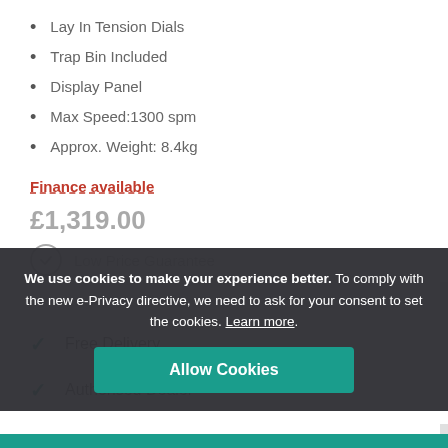Lay In Tension Dials
Trap Bin Included
Display Panel
Max Speed:1300 spm
Approx. Weight: 8.4kg
Finance available
Low Price Guarantee
We use cookies to make your experience better. To comply with the new e-Privacy directive, we need to ask for your consent to set the cookies. Learn more.
Allow Cookies
Free Delivery
Authorised Dealer